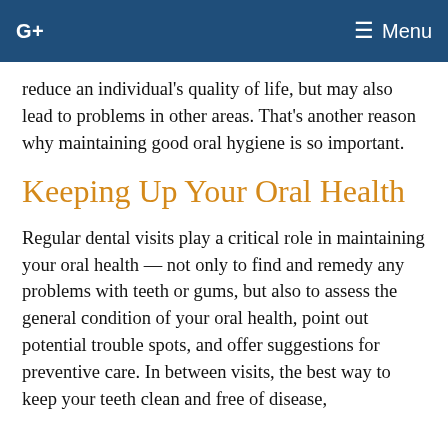G+  Menu
reduce an individual's quality of life, but may also lead to problems in other areas. That's another reason why maintaining good oral hygiene is so important.
Keeping Up Your Oral Health
Regular dental visits play a critical role in maintaining your oral health — not only to find and remedy any problems with teeth or gums, but also to assess the general condition of your oral health, point out potential trouble spots, and offer suggestions for preventive care. In between visits, the best way to keep your teeth clean and free of disease,